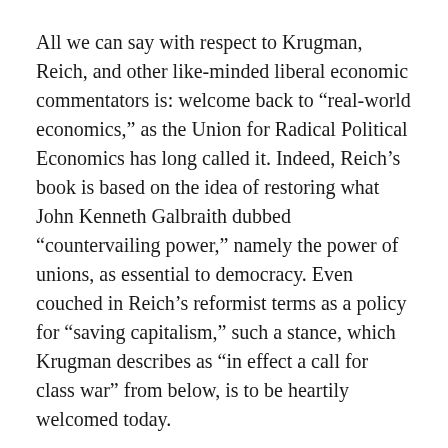All we can say with respect to Krugman, Reich, and other like-minded liberal economic commentators is: welcome back to “real-world economics,” as the Union for Radical Political Economics has long called it. Indeed, Reich’s book is based on the idea of restoring what John Kenneth Galbraith dubbed “countervailing power,” namely the power of unions, as essential to democracy. Even couched in Reich’s reformist terms as a policy for “saving capitalism,” such a stance, which Krugman describes as “in effect a call for class war” from below, is to be heartily welcomed today.
●●●
We would like to congratulate Makoto Itoh, author of the 1980 Monthly Review Press book Value and Crisis, for winning the 2015 JSPE-Routledge Book Prize. Founded in 1959, the Japan Society of Political Economy (JSPE) is the country’s largest grouping of heterodox